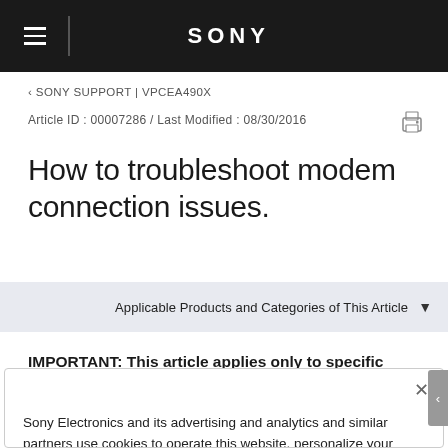SONY
‹ SONY SUPPORT | VPCEA490X
Article ID : 00007286 / Last Modified : 08/30/2016
How to troubleshoot modem connection issues.
Applicable Products and Categories of This Article
IMPORTANT: This article applies only to specific products and/or
Sony Electronics and its advertising and analytics and similar partners use cookies to operate this website, personalize your experience, serve advertisements and/or analyze traffic. By using our site, you